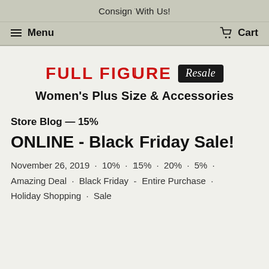Consign With Us!
Menu   Cart
[Figure (logo): Full Figure Resale logo — 'FULL FIGURE' in red bold uppercase letters, 'Resale' in white italic script on a black rounded-rectangle badge]
Women's Plus Size & Accessories
Store Blog — 15%
ONLINE - Black Friday Sale!
November 26, 2019 · 10% · 15% · 20% · 5% · Amazing Deal · Black Friday · Entire Purchase · Holiday Shopping · Sale